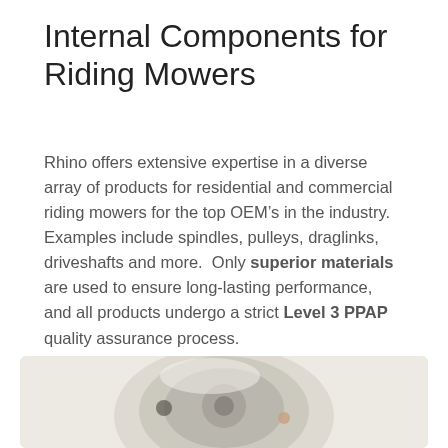Internal Components for Riding Mowers
Rhino offers extensive expertise in a diverse array of products for residential and commercial riding mowers for the top OEM’s in the industry.  Examples include spindles, pulleys, draglinks, driveshafts and more.  Only superior materials are used to ensure long-lasting performance, and all products undergo a strict Level 3 PPAP quality assurance process.
[Figure (photo): Close-up photo of an internal mower component (spindle or pulley assembly) with a light beige/cream color background, partial view cropped at bottom of page.]